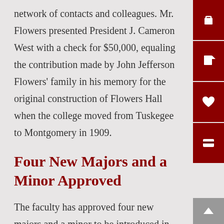network of contacts and colleagues. Mr. Flowers presented President J. Cameron West with a check for $50,000, equaling the contribution made by John Jefferson Flowers' family in his memory for the original construction of Flowers Hall when the college moved from Tuskegee to Montgomery in 1909.
Four New Majors and a Minor Approved
The faculty has approved four new majors and a minor to be introduced in the fall 2022. The majors are Biochemistry/Pre-Health; Cell Biology/Pre-Health;